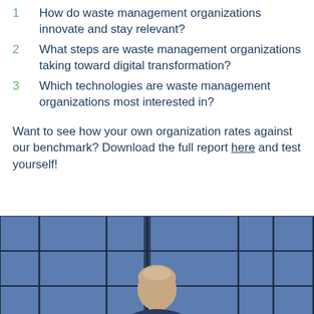1  How do waste management organizations innovate and stay relevant?
2  What steps are waste management organizations taking toward digital transformation?
3  Which technologies are waste management organizations most interested in?
Want to see how your own organization rates against our benchmark? Download the full report here and test yourself!
[Figure (photo): A person standing in front of a blue grid/panel backdrop, photo cropped at bottom of page]